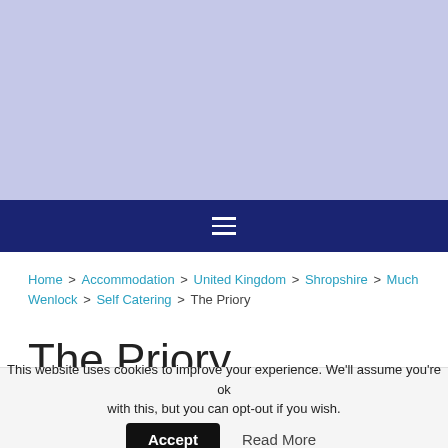[Figure (photo): Light periwinkle/lavender colored hero banner placeholder area]
≡ (hamburger menu navigation bar)
Home > Accommodation > United Kingdom > Shropshire > Much Wenlock > Self Catering > The Priory
The Priory
This website uses cookies to improve your experience. We'll assume you're ok with this, but you can opt-out if you wish. Accept  Read More